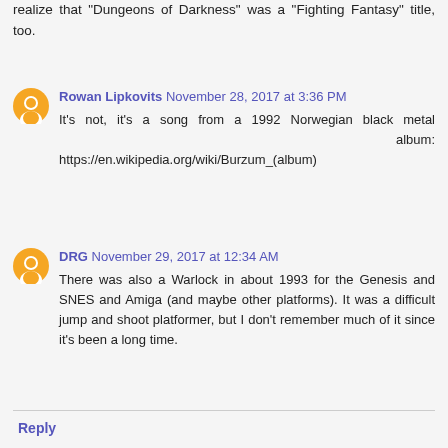realize that "Dungeons of Darkness" was a "Fighting Fantasy" title, too.
Rowan Lipkovits November 28, 2017 at 3:36 PM
It's not, it's a song from a 1992 Norwegian black metal album: https://en.wikipedia.org/wiki/Burzum_(album)
DRG November 29, 2017 at 12:34 AM
There was also a Warlock in about 1993 for the Genesis and SNES and Amiga (and maybe other platforms). It was a difficult jump and shoot platformer, but I don't remember much of it since it's been a long time.
Reply